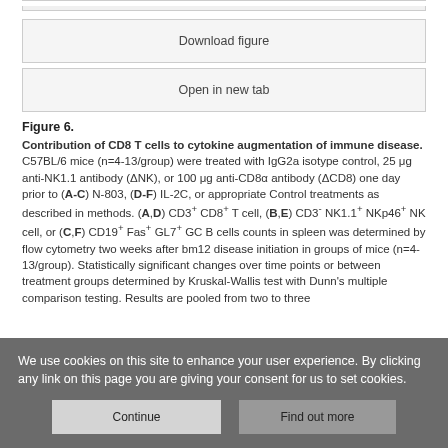[Figure (screenshot): Partial top border of a figure image, cropped at the top of the page]
Download figure
Open in new tab
Figure 6.
Contribution of CD8 T cells to cytokine augmentation of immune disease. C57BL/6 mice (n=4-13/group) were treated with IgG2a isotype control, 25 μg anti-NK1.1 antibody (ΔNK), or 100 μg anti-CD8α antibody (ΔCD8) one day prior to (A-C) N-803, (D-F) IL-2C, or appropriate Control treatments as described in methods. (A,D) CD3+ CD8+ T cell, (B,E) CD3- NK1.1+ NKp46+ NK cell, or (C,F) CD19+ Fas+ GL7+ GC B cells counts in spleen was determined by flow cytometry two weeks after bm12 disease initiation in groups of mice (n=4-13/group). Statistically significant changes over time points or between treatment groups determined by Kruskal-Wallis test with Dunn's multiple comparison testing. Results are pooled from two to three
We use cookies on this site to enhance your user experience. By clicking any link on this page you are giving your consent for us to set cookies.